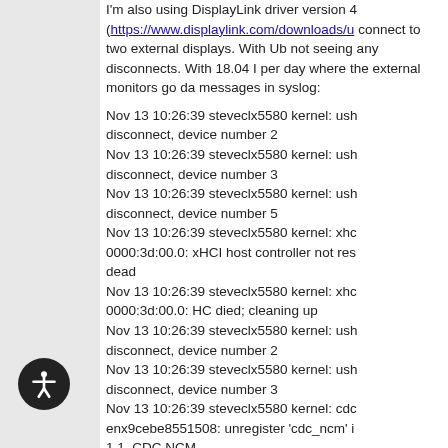I'm also using DisplayLink driver version 4 (https://www.displaylink.com/downloads/u) connect to two external displays. With Ubuntu not seeing any disconnects. With 18.04 I per day where the external monitors go dark messages in syslog:
Nov 13 10:26:39 steveclx5580 kernel: usb disconnect, device number 2
Nov 13 10:26:39 steveclx5580 kernel: usb disconnect, device number 3
Nov 13 10:26:39 steveclx5580 kernel: usb disconnect, device number 5
Nov 13 10:26:39 steveclx5580 kernel: xhci 0000:3d:00.0: xHCI host controller not responding, dead
Nov 13 10:26:39 steveclx5580 kernel: xhci 0000:3d:00.0: HC died; cleaning up
Nov 13 10:26:39 steveclx5580 kernel: usb disconnect, device number 2
Nov 13 10:26:39 steveclx5580 kernel: usb disconnect, device number 3
Nov 13 10:26:39 steveclx5580 kernel: cdc enx9cebe8551508: unregister 'cdc_ncm' 1.1, CDC NCM
Nov 13 10:26:39 steveclx5580 NetworkManager: <info> [1542122799.4322] device (enx9c change: unavailable -> unmanaged (reason 'removed', sys-iface-